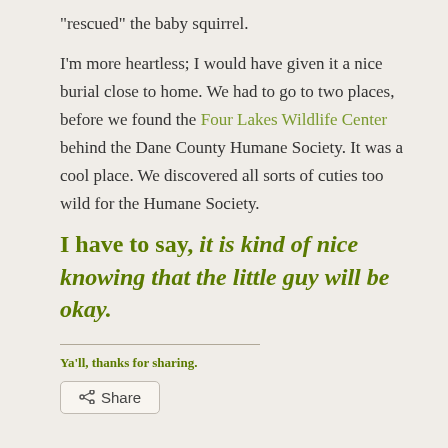“rescued” the baby squirrel.
I’m more heartless; I would have given it a nice burial close to home. We had to go to two places, before we found the Four Lakes Wildlife Center behind the Dane County Humane Society. It was a cool place. We discovered all sorts of cuties too wild for the Humane Society.
I have to say, it is kind of nice knowing that the little guy will be okay.
Ya’ll, thanks for sharing.
Share